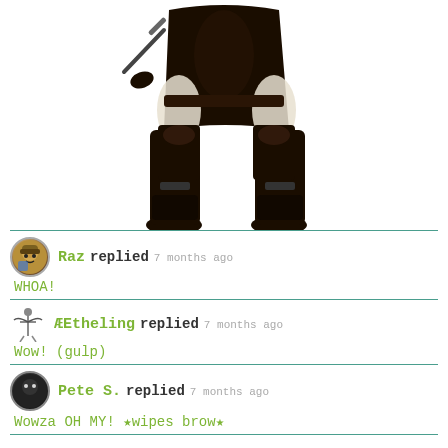[Figure (photo): Lower half of a figure wearing dark armor/costume with sword, standing wide-legged against white background]
Raz replied 7 months ago
WHOA!
ÆEtheling replied 7 months ago
Wow! (gulp)
Pete S. replied 7 months ago
Wowza OH MY! *wipes brow*